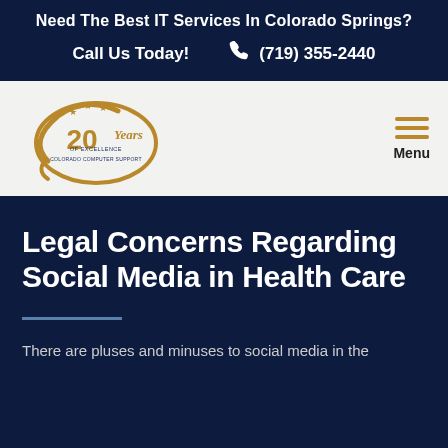Need The Best IT Services In Colorado Springs?
Call Us Today!  (719) 355-2440
[Figure (logo): Colorado Computer Support 20 Years of Excellence logo — a golden swoosh/circular design with stars and '20 Years' text]
Legal Concerns Regarding Social Media in Health Care
There are pluses and minuses to social media in the